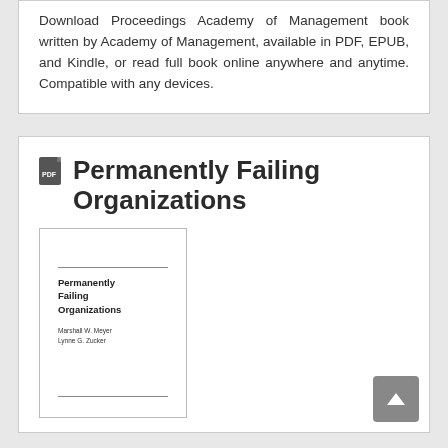Download Proceedings Academy of Management book written by Academy of Management, available in PDF, EPUB, and Kindle, or read full book online anywhere and anytime. Compatible with any devices.
Permanently Failing Organizations
[Figure (illustration): Book cover thumbnail showing 'Permanently Failing Organizations' by Marshall W. Meyer and Lynne G. Zucker, with horizontal lines above and below the title and author text on a white background.]